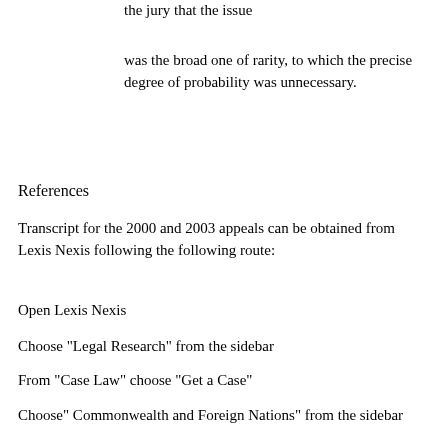the jury that the issue
was the broad one of rarity, to which the precise degree of probability was unnecessary.
References
Transcript for the 2000 and 2003 appeals can be obtained from Lexis Nexis following the following route:
Open Lexis Nexis
Choose "Legal Research" from the sidebar
From "Case Law" choose "Get a Case"
Choose" Commonwealth and Foreign Nations" from the sidebar